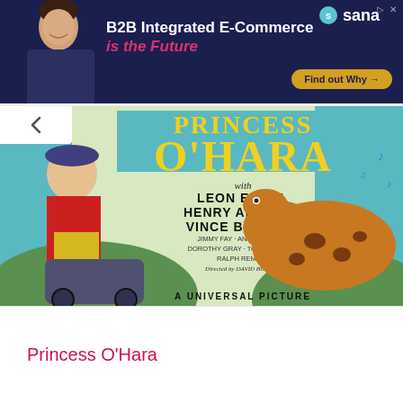[Figure (other): Advertisement banner for Sana B2B Integrated E-Commerce with a man in dark shirt on dark blue background, with text 'B2B Integrated E-Commerce is the Future' and a 'Find out Why' button]
[Figure (photo): Movie poster for 'Princess O'Hara' - a Universal Picture featuring a woman in red and yellow dress riding a horse-drawn carriage with a spotted horse. Text includes: with LEON ERROL, HENRY ARMETTA, VINCE BARNETT, JIMMY FAY, ANNE HOWARD, DOROTHY GRAY, TOMMY DUGAN, RALPH REMLEY, Directed by DAVID BURTON]
Princess O'Hara